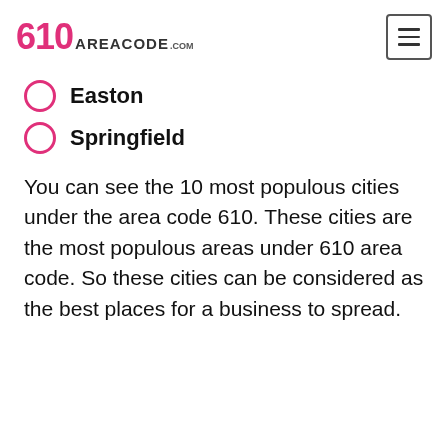610areacode.com
Easton
Springfield
You can see the 10 most populous cities under the area code 610. These cities are the most populous areas under 610 area code. So these cities can be considered as the best places for a business to spread.